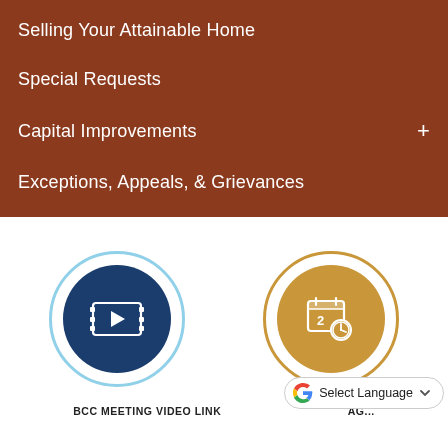Selling Your Attainable Home
Special Requests
Capital Improvements
Exceptions, Appeals, & Grievances
[Figure (illustration): Dark blue circle icon with a film/video play icon inside, surrounded by a light blue outer ring]
BCC MEETING VIDEO LINK
[Figure (illustration): Tan/gold circle icon with a calendar and clock icon inside, surrounded by a tan outer ring]
AG...
Select Language